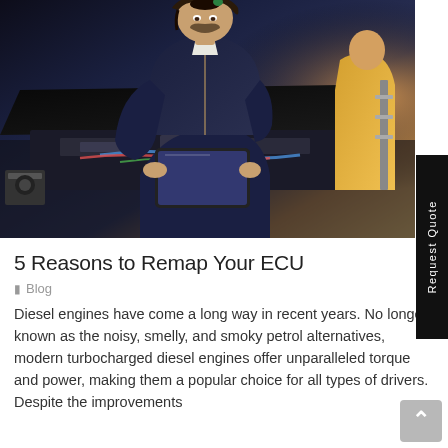[Figure (photo): A mechanic in dark navy blue overalls working under the hood of a car in an auto repair shop, using a tablet/diagnostic device. Another person in yellow overalls is visible in the background.]
5 Reasons to Remap Your ECU
Blog
Diesel engines have come a long way in recent years. No longer known as the noisy, smelly, and smoky petrol alternatives, modern turbocharged diesel engines offer unparalleled torque and power, making them a popular choice for all types of drivers. Despite the improvements